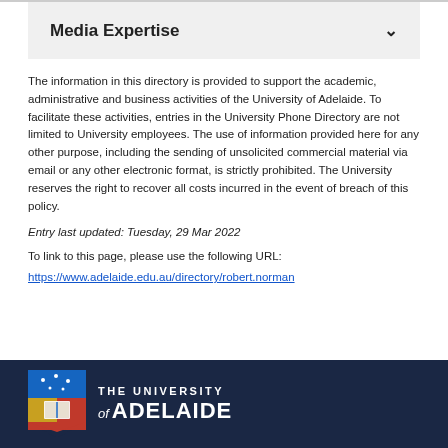Media Expertise
The information in this directory is provided to support the academic, administrative and business activities of the University of Adelaide. To facilitate these activities, entries in the University Phone Directory are not limited to University employees. The use of information provided here for any other purpose, including the sending of unsolicited commercial material via email or any other electronic format, is strictly prohibited. The University reserves the right to recover all costs incurred in the event of breach of this policy.
Entry last updated: Tuesday, 29 Mar 2022
To link to this page, please use the following URL:
https://www.adelaide.edu.au/directory/robert.norman
[Figure (logo): The University of Adelaide logo — shield crest with blue, gold and red with white text on dark navy background]